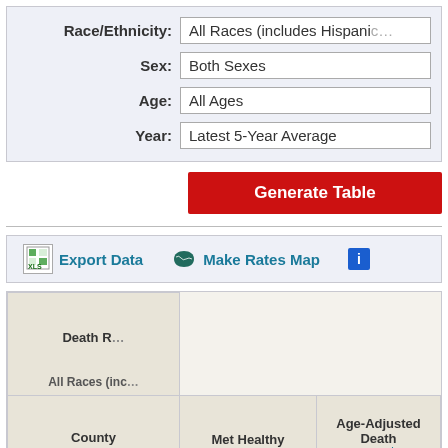Race/Ethnicity: All Races (includes Hispanic)
Sex: Both Sexes
Age: All Ages
Year: Latest 5-Year Average
Generate Table
Export Data
Make Rates Map
| County | Met Healthy People | Age-Adjusted Death Rate† | All Races (inc…) |
| --- | --- | --- | --- |